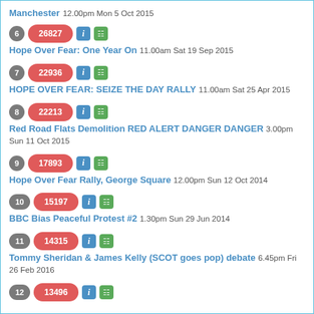Manchester 12.00pm Mon 5 Oct 2015
6 | 26827 | Hope Over Fear: One Year On 11.00am Sat 19 Sep 2015
7 | 22936 | HOPE OVER FEAR: SEIZE THE DAY RALLY 11.00am Sat 25 Apr 2015
8 | 22213 | Red Road Flats Demolition RED ALERT DANGER DANGER 3.00pm Sun 11 Oct 2015
9 | 17893 | Hope Over Fear Rally, George Square 12.00pm Sun 12 Oct 2014
10 | 15197 | BBC Bias Peaceful Protest #2 1.30pm Sun 29 Jun 2014
11 | 14315 | Tommy Sheridan & James Kelly (SCOT goes pop) debate 6.45pm Fri 26 Feb 2016
12 | 13496